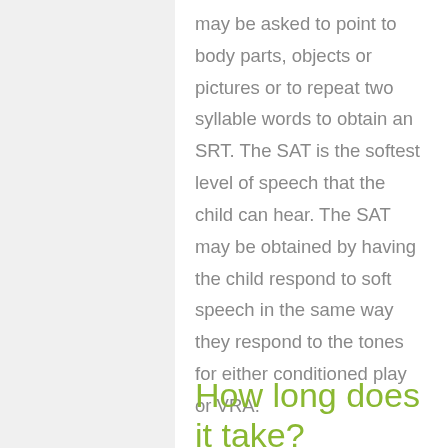may be asked to point to body parts, objects or pictures or to repeat two syllable words to obtain an SRT. The SAT is the softest level of speech that the child can hear. The SAT may be obtained by having the child respond to soft speech in the same way they respond to the tones for either conditioned play or VRA.
How long does it take?